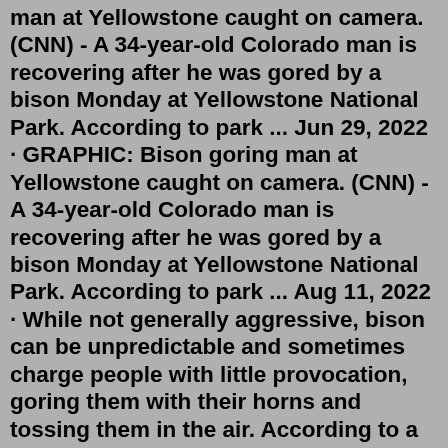man at Yellowstone caught on camera. (CNN) - A 34-year-old Colorado man is recovering after he was gored by a bison Monday at Yellowstone National Park. According to park ... Jun 29, 2022 · GRAPHIC: Bison goring man at Yellowstone caught on camera. (CNN) - A 34-year-old Colorado man is recovering after he was gored by a bison Monday at Yellowstone National Park. According to park ... Aug 11, 2022 · While not generally aggressive, bison can be unpredictable and sometimes charge people with little provocation, goring them with their horns and tossing them in the air. According to a 2019 study by Utah State University (opens in new tab) , American bison injure more people than any other wildlife in Yellowstone National Park, including ... Jun 29, 2022 · GRAPHIC: Bison goring man at Yellowstone caught on camera. (CNN) - A 34-year-old Colorado man is recovering after he was gored by a bison Monday at Yellowstone National Park. According to park ... Jun 29, 2022 · GRAPHIC: Bison goring man at Yellowstone caught on camera. (CNN) - A 34-year-old